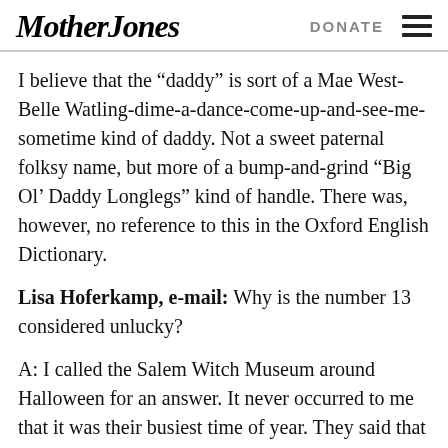Mother Jones | DONATE
I believe that the “daddy” is sort of a Mae West-Belle Watling-dime-a-dance-come-up-and-see-me-sometime kind of daddy. Not a sweet paternal folksy name, but more of a bump-and-grind “Big Ol’ Daddy Longlegs” kind of handle. There was, however, no reference to this in the Oxford English Dictionary.
Lisa Hoferkamp, e-mail: Why is the number 13 considered unlucky?
A: I called the Salem Witch Museum around Halloween for an answer. It never occurred to me that it was their busiest time of year. They said that